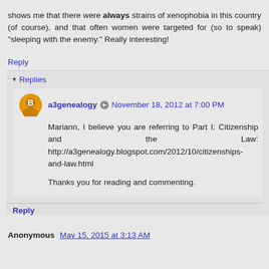shows me that there were always strains of xenophobia in this country (of course), and that often women were targeted for (so to speak) "sleeping with the enemy." Really interesting!
Reply
Replies
a3genealogy  November 18, 2012 at 7:00 PM
Mariann, I believe you are referring to Part I: Citizenship and the Law: http://a3genealogy.blogspot.com/2012/10/citizenships-and-law.html

Thanks you for reading and commenting.
Reply
Anonymous  May 15, 2015 at 3:13 AM